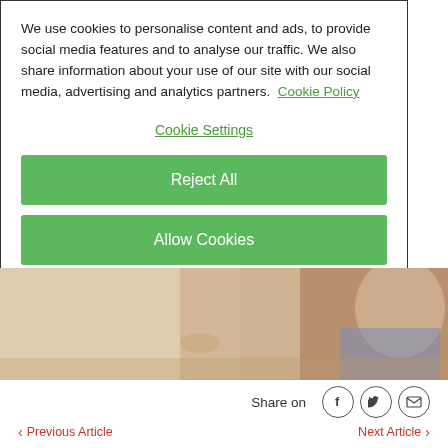We use cookies to personalise content and ads, to provide social media features and to analyse our traffic. We also share information about your use of our site with our social media, advertising and analytics partners.  Cookie Policy
Cookie Settings
Reject All
Allow Cookies
[Figure (photo): Photo strip showing a person outdoors, partial view of torso and hands holding something in a field. Left portion is beige/sandy, right portion shows clothing and skin tones.]
Share on
Previous Article
Next Article